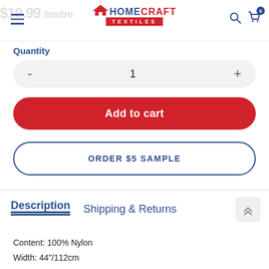Homecraft Textiles
$19.99 /metre
Quantity
- 1 +
Add to cart
ORDER $5 SAMPLE
Description    Shipping & Returns
Content: 100% Nylon
Width: 44"/112cm